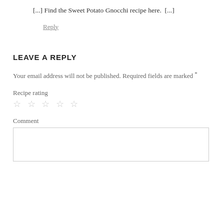[...] Find the Sweet Potato Gnocchi recipe here.  [...]
Reply
LEAVE A REPLY
Your email address will not be published. Required fields are marked *
Recipe rating
☆ ☆ ☆ ☆ ☆
Comment